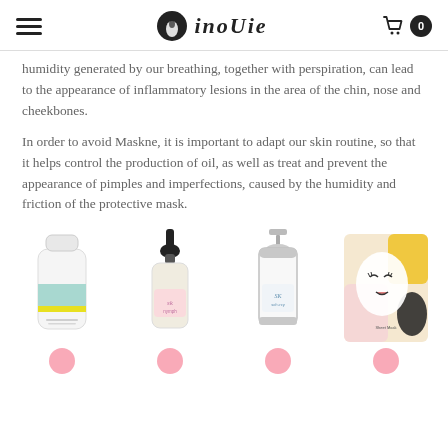inoUie - navigation header with logo and cart
humidity generated by our breathing, together with perspiration, can lead to the appearance of inflammatory lesions in the area of the chin, nose and cheekbones.
In order to avoid Maskne, it is important to adapt our skin routine, so that it helps control the production of oil, as well as treat and prevent the appearance of pimples and imperfections, caused by the humidity and friction of the protective mask.
[Figure (photo): Four skincare product images displayed in a row: a white cream tube with teal label, a dark dropper bottle with pink label, a silver pump bottle, and a face sheet mask package with illustrated face design.]